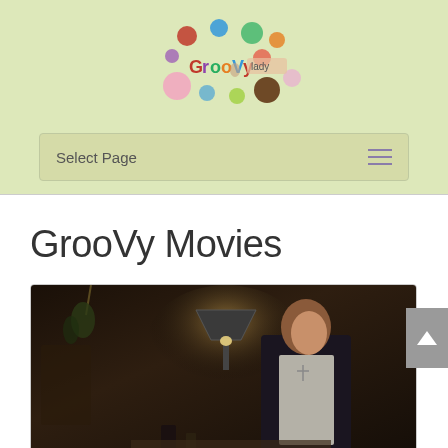[Figure (logo): GrooVy lady logo with colorful polka dots and cartoon female figure]
Select Page
GrooVy Movies
[Figure (photo): A woman in period maid costume working under an oil lamp in a dark rustic setting]